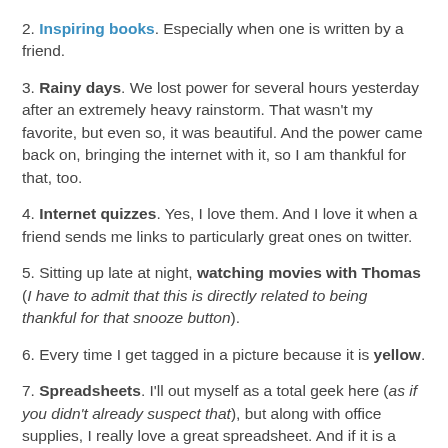2. Inspiring books. Especially when one is written by a friend.
3. Rainy days. We lost power for several hours yesterday after an extremely heavy rainstorm. That wasn't my favorite, but even so, it was beautiful. And the power came back on, bringing the internet with it, so I am thankful for that, too.
4. Internet quizzes. Yes, I love them. And I love it when a friend sends me links to particularly great ones on twitter.
5. Sitting up late at night, watching movies with Thomas (I have to admit that this is directly related to being thankful for that snooze button).
6. Every time I get tagged in a picture because it is yellow.
7. Spreadsheets. I'll out myself as a total geek here (as if you didn't already suspect that), but along with office supplies, I really love a great spreadsheet. And if it is a spreadsheet about books? I love it even more.